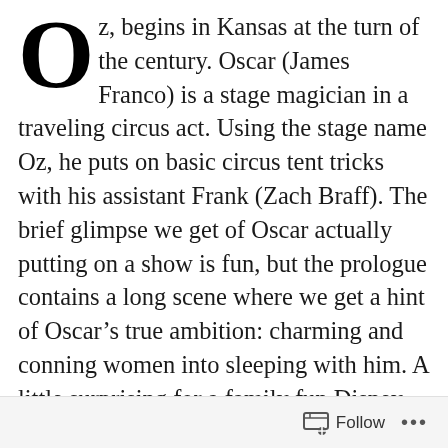Oz, begins in Kansas at the turn of the century. Oscar (James Franco) is a stage magician in a traveling circus act. Using the stage name Oz, he puts on basic circus tent tricks with his assistant Frank (Zach Braff). The brief glimpse we get of Oscar actually putting on a show is fun, but the prologue contains a long scene where we get a hint of Oscar's true ambition: charming and conning women into sleeping with him. A little surprising for a family fun Disney flick. It adds to the character of Oscar but seems incongruous to Oscar's true ambition to be a great man, which he states a number of times, and will come back into play later on in the movie. It is noteworthy to mention that the Kansas scenes are shot in Academy 4:3 ratio and monochrome to connect this movie to the classic from 1939. There are a few other connections to The Wizard of Oz the...
Follow ...